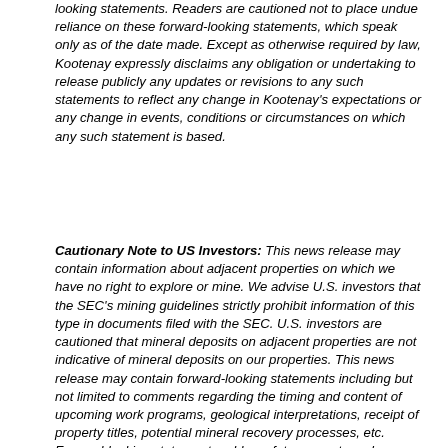looking statements. Readers are cautioned not to place undue reliance on these forward-looking statements, which speak only as of the date made. Except as otherwise required by law, Kootenay expressly disclaims any obligation or undertaking to release publicly any updates or revisions to any such statements to reflect any change in Kootenay's expectations or any change in events, conditions or circumstances on which any such statement is based.
Cautionary Note to US Investors: This news release may contain information about adjacent properties on which we have no right to explore or mine. We advise U.S. investors that the SEC's mining guidelines strictly prohibit information of this type in documents filed with the SEC. U.S. investors are cautioned that mineral deposits on adjacent properties are not indicative of mineral deposits on our properties. This news release may contain forward-looking statements including but not limited to comments regarding the timing and content of upcoming work programs, geological interpretations, receipt of property titles, potential mineral recovery processes, etc. Forward-looking statements address future events and conditions and therefore involve inherent risks and uncertainties. Actual results may differ materially from the currently anticipated objectives...